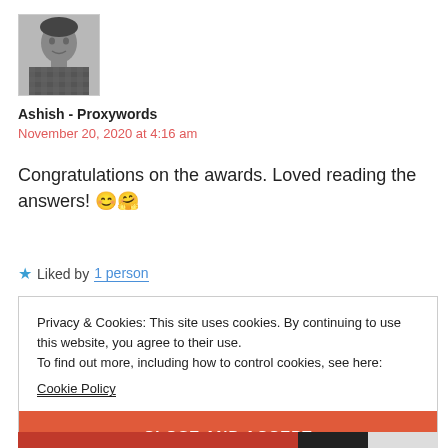[Figure (photo): Black and white profile photo of a young man in a checkered shirt]
Ashish - Proxywords
November 20, 2020 at 4:16 am
Congratulations on the awards. Loved reading the answers! 😊🤗
★ Liked by 1 person
Privacy & Cookies: This site uses cookies. By continuing to use this website, you agree to their use.
To find out more, including how to control cookies, see here:
Cookie Policy
CLOSE AND ACCEPT